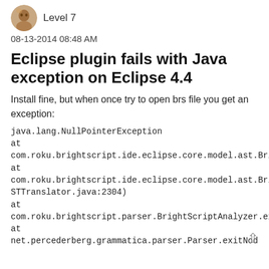Level 7
08-13-2014 08:48 AM
Eclipse plugin fails with Java exception on Eclipse 4.4
Install fine, but when once try to open brs file you get an exception:
java.lang.NullPointerException
at
com.roku.brightscript.ide.eclipse.core.model.ast.BrightScriptASTTranslator.processFnCallFnRefOrVarRef(BrightScriptASTTranslator.java:2511)
at
com.roku.brightscript.ide.eclipse.core.model.ast.BrightScriptASTTranslator.exitFnexprtail(BrightScriptASTTranslator.java:2304)
at
com.roku.brightscript.parser.BrightScriptAnalyzer.exit(BrightScriptAnalyzer.java:1329)
at
net.percederberg.grammatica.parser.Parser.exitNod